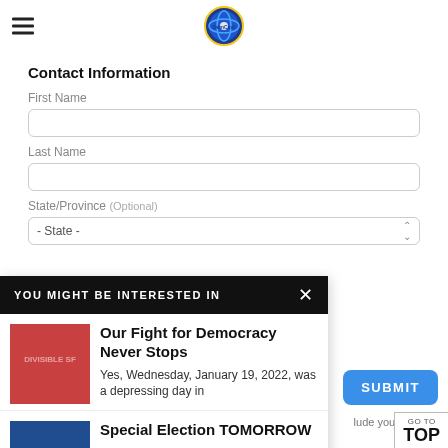DemCast logo and hamburger menu
Contact Information
First Name
Last Name
State/Province (Optional)
- State -
YOU MIGHT BE INTERESTED IN
[Figure (illustration): Red square image with text DIVISIBLE SF]
Our Fight for Democracy Never Stops
Yes, Wednesday, January 19, 2022, was a depressing day in
[Figure (photo): Blue image with text SPECIAL ELECTION TOMORROW ALERT]
Special Election TOMORROW
CHARLESTON CITY COUNCIL
DISTRICT 1 SPECIAL ELECTION
SUBMIT
lude your state of
GO TO TOP